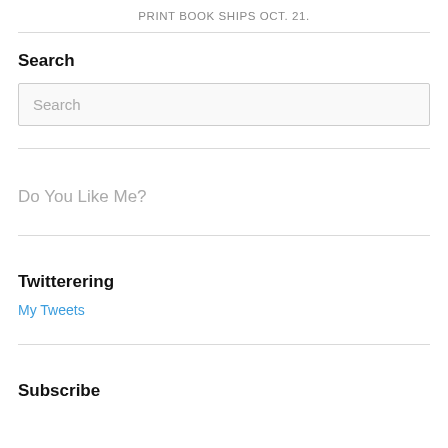PRINT BOOK SHIPS OCT. 21.
Search
Search
Do You Like Me?
Twitterering
My Tweets
Subscribe